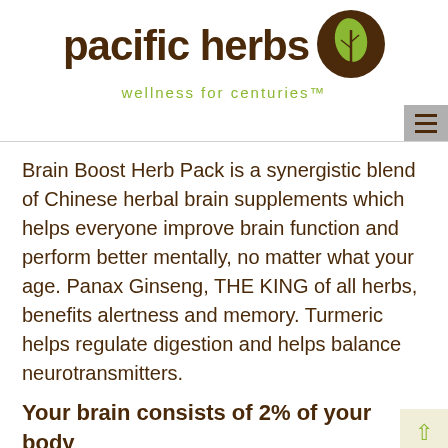[Figure (logo): Pacific Herbs logo with brown text 'pacific herbs', a brown circle with green leaf icon, and green tagline 'wellness for centuries']
Brain Boost Herb Pack is a synergistic blend of Chinese herbal brain supplements which helps everyone improve brain function and perform better mentally, no matter what your age. Panax Ginseng, THE KING of all herbs, benefits alertness and memory. Turmeric helps regulate digestion and helps balance neurotransmitters.
Your brain consists of 2% of your body